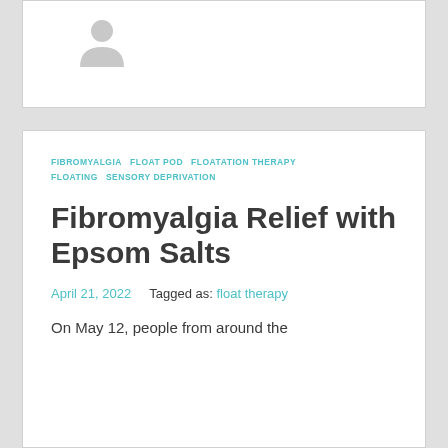[Figure (illustration): User avatar icon in gray silhouette style at top left of card]
FIBROMYALGIA  FLOAT POD  FLOATATION THERAPY  FLOATING  SENSORY DEPRIVATION
Fibromyalgia Relief with Epsom Salts
April 21, 2022    Tagged as: float therapy
On May 12, people from around the